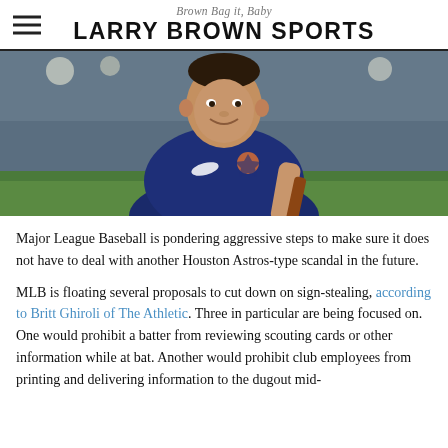Brown Bag it, Baby
LARRY BROWN SPORTS
[Figure (photo): Baseball player in navy blue Houston Astros Nike shirt smiling at camera on field]
Major League Baseball is pondering aggressive steps to make sure it does not have to deal with another Houston Astros-type scandal in the future.
MLB is floating several proposals to cut down on sign-stealing, according to Britt Ghiroli of The Athletic. Three in particular are being focused on. One would prohibit a batter from reviewing scouting cards or other information while at bat. Another would prohibit club employees from printing and delivering information to the dugout mid-